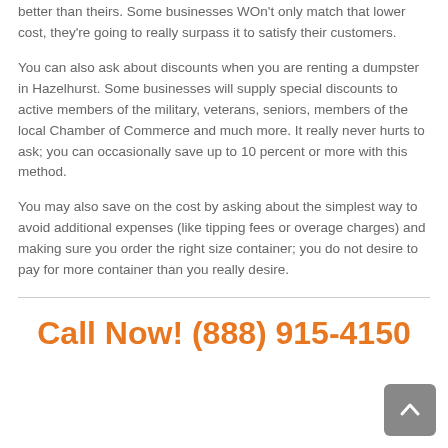better than theirs. Some businesses WOn't only match that lower cost, they're going to really surpass it to satisfy their customers.
You can also ask about discounts when you are renting a dumpster in Hazelhurst. Some businesses will supply special discounts to active members of the military, veterans, seniors, members of the local Chamber of Commerce and much more. It really never hurts to ask; you can occasionally save up to 10 percent or more with this method.
You may also save on the cost by asking about the simplest way to avoid additional expenses (like tipping fees or overage charges) and making sure you order the right size container; you do not desire to pay for more container than you really desire.
Call Now! (888) 915-4150